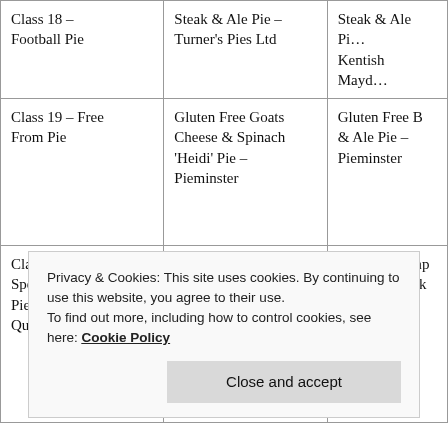| Class | Gold | Silver |
| --- | --- | --- |
| Class 18 – Football Pie | Steak & Ale Pie – Turner's Pies Ltd | Steak & Ale Pie – Kentish Mayd… |
| Class 19 – Free From Pie | Gluten Free Goats Cheese & Spinach 'Heidi' Pie – Pieminster | Gluten Free B & Ale Pie – Pieminster |
| Class 20 – Speciality Class: Pie Fit For The Queen | Marks & Spencer Victorian Corset Pork & Chicken Pie – Walker & Son | A Royal Stamp Approval Pork – Walker & So… |
Privacy & Cookies: This site uses cookies. By continuing to use this website, you agree to their use. To find out more, including how to control cookies, see here: Cookie Policy